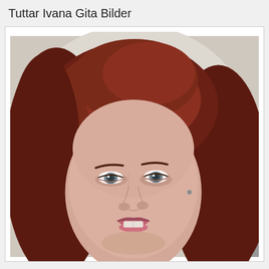Tuttar Ivana Gita Bilder
[Figure (photo): Portrait photo of a middle-aged woman with shoulder-length dark red/auburn hair, light blue-grey eyes, wearing a small stud earring, mouth slightly open showing teeth, photographed against a light beige/grey background.]